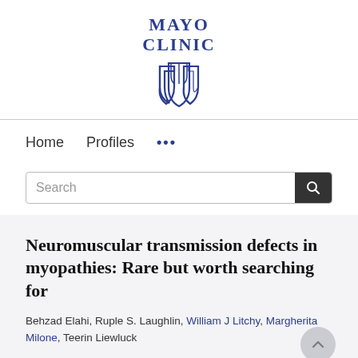[Figure (logo): Mayo Clinic logo: text 'MAYO CLINIC' in navy blue serif font above a stylized shield emblem in blue outline]
Home   Profiles   ...
Search
Neuromuscular transmission defects in myopathies: Rare but worth searching for
Behzad Elahi, Ruple S. Laughlin, William J Litchy, Margherita Milone, Teerin Liewluck